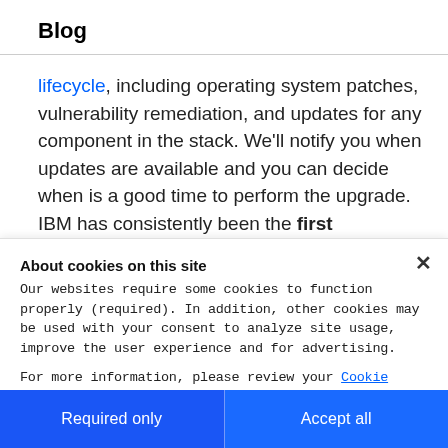Blog
lifecycle, including operating system patches, vulnerability remediation, and updates for any component in the stack. We'll notify you when updates are available and you can decide when is a good time to perform the upgrade. IBM has consistently been the first managed public Kubernetes Service to support the
About cookies on this site
Our websites require some cookies to function properly (required). In addition, other cookies may be used with your consent to analyze site usage, improve the user experience and for advertising.

For more information, please review your Cookie preferences options and IBM's privacy statement.
Required only
Accept all